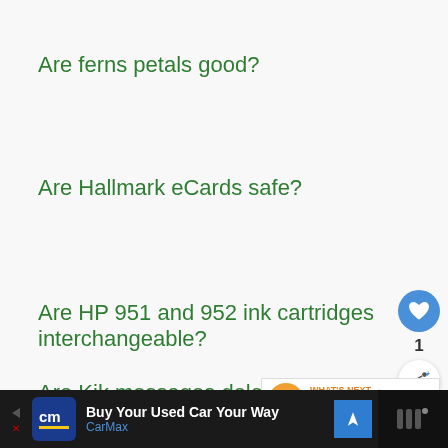Are ferns petals good?
Are Hallmark eCards safe?
Are HP 951 and 952 ink cartridges interchangeable?
Are Kik messages deleted forever
[Figure (infographic): Social buttons: heart/like button (blue circle with heart icon), count '1', and share button (circular with share icon)]
[Figure (infographic): What's Next banner showing Social Hire logo and text 'How To Invite Facebook...']
[Figure (infographic): Advertisement bar for CarMax: 'Buy Your Used Car Your Way' with CarMax logo and navigation icon]